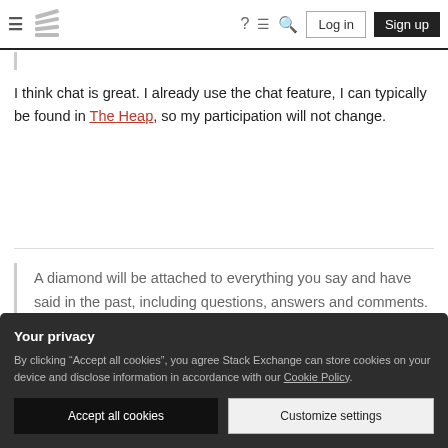Stack Exchange navigation bar with hamburger menu, logo, help, chat, search icons, Log in and Sign up buttons
I think chat is great. I already use the chat feature, I can typically be found in The Heap, so my participation will not change.
A diamond will be attached to everything you say and have said in the past, including questions, answers and comments. Everything you will do (and have done) will
Your privacy
By clicking “Accept all cookies”, you agree Stack Exchange can store cookies on your device and disclose information in accordance with our Cookie Policy.
Accept all cookies  Customize settings